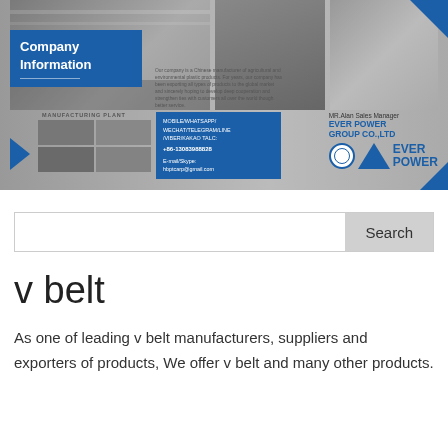[Figure (photo): Company Information banner image showing manufacturing plant photos, contact details for Ever Power Group Co.,LTD with sales manager MR.Alan, mobile/WhatsApp/WeChat contact info, phone +86-13083988828, email hbptcarp@gmail.com, Ever Power logo with blue triangle]
Search
v belt
As one of leading v belt manufacturers, suppliers and exporters of products, We offer v belt and many other products.